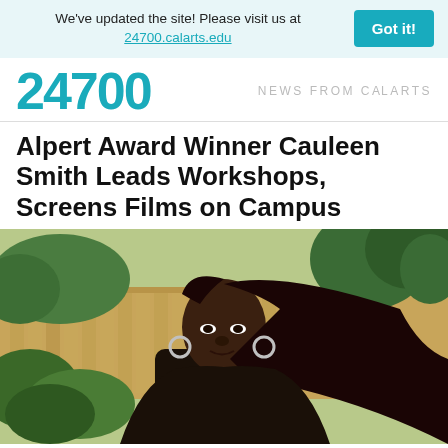We've updated the site! Please visit us at 24700.calarts.edu   Got it!
24700  NEWS FROM CalARTS
Alpert Award Winner Cauleen Smith Leads Workshops, Screens Films on Campus
[Figure (photo): Portrait photo of Cauleen Smith, a Black woman with long braided hair wearing hoop earrings, photographed outdoors in front of greenery and a wooden fence, smiling at the camera.]